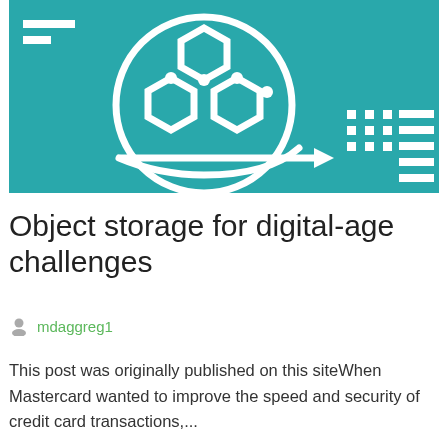[Figure (illustration): Teal/cyan background illustration showing hexagonal molecular shapes inside a circle, with an arrow pointing right toward a grid of dots and horizontal lines, representing object storage or data network concept. Two white horizontal bars in upper left corner.]
Object storage for digital-age challenges
mdaggreg1
This post was originally published on this siteWhen Mastercard wanted to improve the speed and security of credit card transactions,...